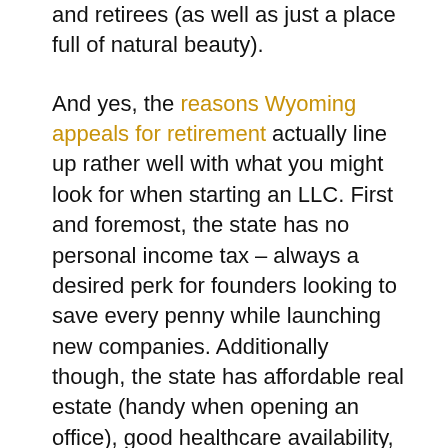and retirees (as well as just a place full of natural beauty).
And yes, the reasons Wyoming appeals for retirement actually line up rather well with what you might look for when starting an LLC. First and foremost, the state has no personal income tax – always a desired perk for founders looking to save every penny while launching new companies. Additionally though, the state has affordable real estate (handy when opening an office), good healthcare availability, and plenty of beautiful places to set up shop. And with regard to new businesses, Wyoming also offers a 0% corporate tax race, with a relatively low statewide sales tax.
Additionally of this comes with...